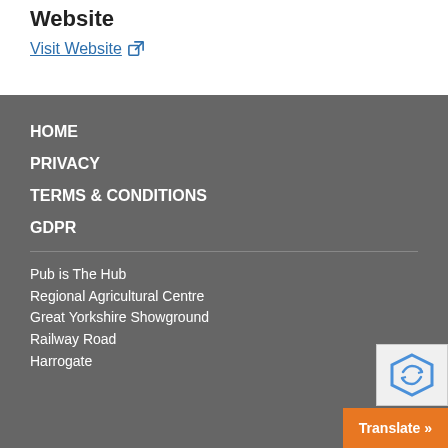Website
Visit Website ↗
HOME
PRIVACY
TERMS & CONDITIONS
GDPR
Pub is The Hub
Regional Agricultural Centre
Great Yorkshire Showground
Railway Road
Harrogate